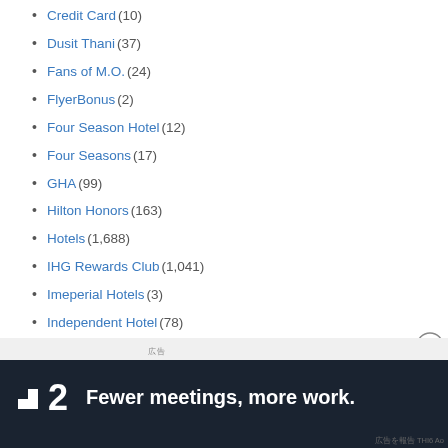Credit Card (10)
Dusit Thani (37)
Fans of M.O. (24)
FlyerBonus (2)
Four Season Hotel (12)
Four Seasons (17)
GHA (99)
Hilton Honors (163)
Hotels (1,688)
IHG Rewards Club (1,041)
Imeperial Hotels (3)
Independent Hotel (78)
LWH (3)
Magetix (1)
Marriott Bonvoy (331)
MeliáRewards (9)
Minor Hotels (15)
New Hotel (157)
NEWS (241)
Okura Nikko Hotel (4)
One Harmony (16)
Onyx Reward (21)
[Figure (infographic): Advertisement banner: dark background with logo showing a white square box next to number 2, text reading 'Fewer meetings, more work.']